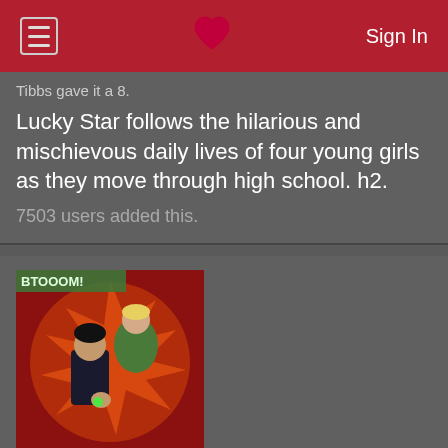Sign In
Tibbs gave it a 8.
Lucky Star follows the hilarious and mischievous daily lives of four young girls as they move through high school. h2.
7503 users added this.
[Figure (illustration): Anime cover art for Btooom! showing two characters, a male in dark clothing and a female in green outfit, against a red explosive background with the title BTOOOM! shown]
Btooom! [TV]
Tibbs gave it a 8.
The story centers around Ryuta Sakamoto, a NEET (Not in Education, Employment, or Training) young man and a top-ranked player in the online combat